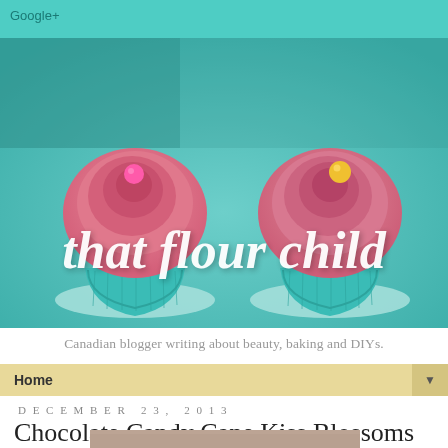Google+
[Figure (photo): Blog header image showing two pink frosted cupcakes in teal cupcake liners on a teal plate, with the blog name 'that flour child' written in white cursive script across the image. Each cupcake has a candy ball on top — one pink, one yellow.]
Canadian blogger writing about beauty, baking and DIYs.
Home ▼
DECEMBER 23, 2013
Chocolate Candy Cane Kiss Blossoms
[Figure (photo): Partial bottom strip showing the top edge of a food photo below the title.]